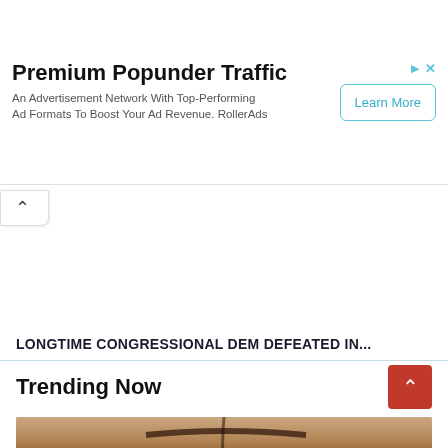[Figure (other): Advertisement banner for Premium Popunder Traffic by RollerAds with a Learn More button and close/collapse controls]
Premium Popunder Traffic
An Advertisement Network With Top-Performing Ad Formats To Boost Your Ad Revenue. RollerAds
[Figure (other): Collapse tab with upward chevron arrow]
LONGTIME CONGRESSIONAL DEM DEFEATED IN...
Trending Now
[Figure (photo): Partial photo of a person's face from the forehead down, partially visible at the bottom of the page]